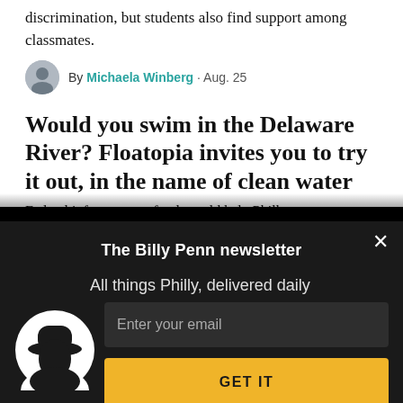discrimination, but students also find support among classmates.
By Michaela Winberg · Aug. 25
Would you swim in the Delaware River? Floatopia invites you to try it out, in the name of clean water
Federal infrastructure funds could help Philly stop
[Figure (screenshot): Billy Penn newsletter signup modal overlay with black background, logo icon, email input field, and GET IT button]
The Billy Penn newsletter
All things Philly, delivered daily
Enter your email
GET IT